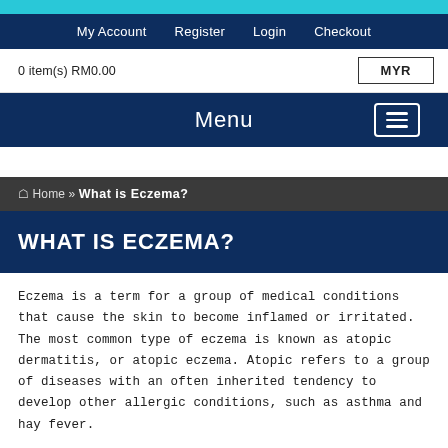My Account   Register   Login   Checkout
0 item(s) RM0.00
Menu
🏠 Home » What is Eczema?
WHAT IS ECZEMA?
Eczema is a term for a group of medical conditions that cause the skin to become inflamed or irritated. The most common type of eczema is known as atopic dermatitis, or atopic eczema. Atopic refers to a group of diseases with an often inherited tendency to develop other allergic conditions, such as asthma and hay fever.